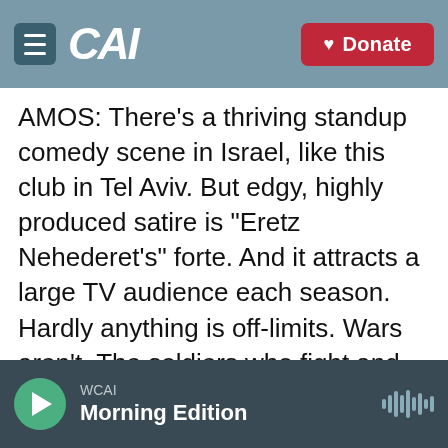CAI | WCAI — Donate
AMOS: There's a thriving standup comedy scene in Israel, like this club in Tel Aviv. But edgy, highly produced satire is "Eretz Nehederet's" forte. And it attracts a large TV audience each season. Hardly anything is off-limits. Wars aren't. The soldiers who fight and die are, says Reicher. There was a sketch of ISIS militants as contestants in the Eurovision Song Contest and, says Reicher, even the Holocaust is not taboo. When a former education minister called for Holocaust studies in kindergarten, the show's writers combined "Teletubbies" and a yellow star in a sketch.
WCAI Morning Edition